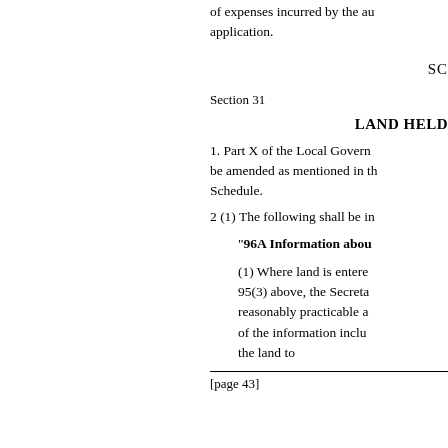of expenses incurred by the au application.
SC
Section 31
LAND HELD
1. Part X of the Local Govern be amended as mentioned in th Schedule.
2 (1) The following shall be in
"96A Information abou
(1) Where land is entere 95(3) above, the Secreta reasonably practicable a of the information inclu the land to
[page 43]